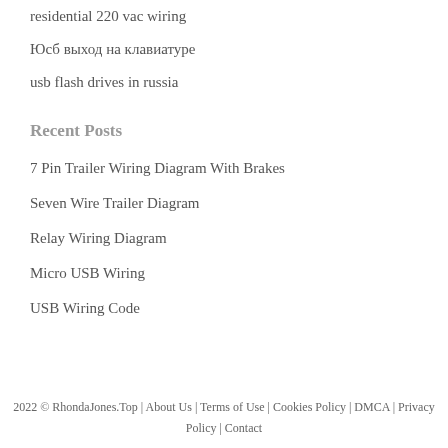residential 220 vac wiring
Юсб выход на клавиатуре
usb flash drives in russia
Recent Posts
7 Pin Trailer Wiring Diagram With Brakes
Seven Wire Trailer Diagram
Relay Wiring Diagram
Micro USB Wiring
USB Wiring Code
2022 © RhondaJones.Top | About Us | Terms of Use | Cookies Policy | DMCA | Privacy Policy | Contact